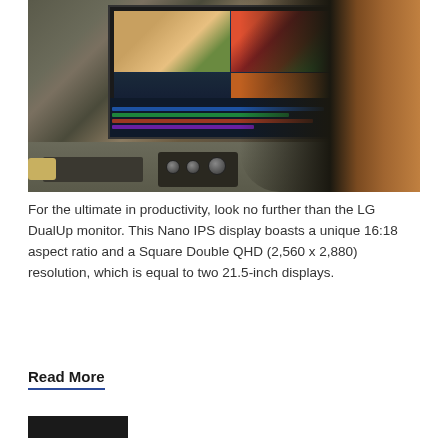[Figure (photo): A man with a beard, seen from behind, wearing a plaid shirt, working at a desk with an LG DualUp monitor showing video editing software. A mechanical keyboard and control panel with knobs are on the desk. A small vintage-style speaker is visible.]
For the ultimate in productivity, look no further than the LG DualUp monitor. This Nano IPS display boasts a unique 16:18 aspect ratio and a Square Double QHD (2,560 x 2,880) resolution, which is equal to two 21.5-inch displays.
Read More